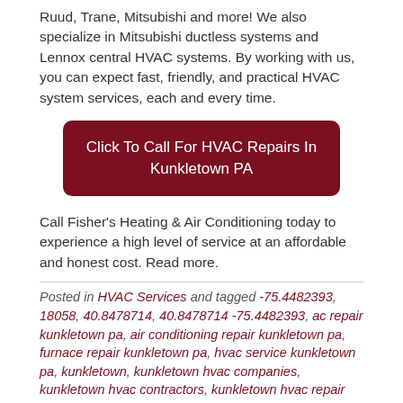Ruud, Trane, Mitsubishi and more! We also specialize in Mitsubishi ductless systems and Lennox central HVAC systems. By working with us, you can expect fast, friendly, and practical HVAC system services, each and every time.
Click To Call For HVAC Repairs In Kunkletown PA
Call Fisher's Heating & Air Conditioning today to experience a high level of service at an affordable and honest cost. Read more.
Posted in HVAC Services and tagged -75.4482393, 18058, 40.8478714, 40.8478714 -75.4482393, ac repair kunkletown pa, air conditioning repair kunkletown pa, furnace repair kunkletown pa, hvac service kunkletown pa, kunkletown, kunkletown hvac companies, kunkletown hvac contractors, kunkletown hvac repair